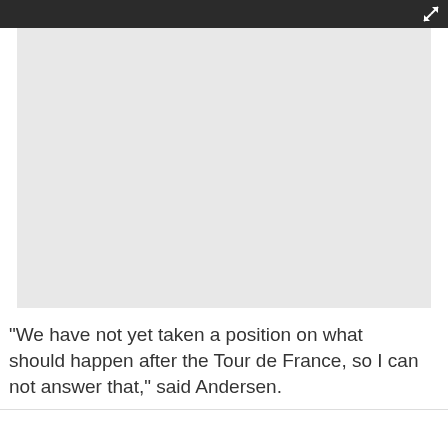[Figure (screenshot): Dark header bar with expand/fullscreen icon in top right corner, and a gray video thumbnail placeholder below]
"We have not yet taken a position on what should happen after the Tour de France, so I can not answer that," said Andersen.